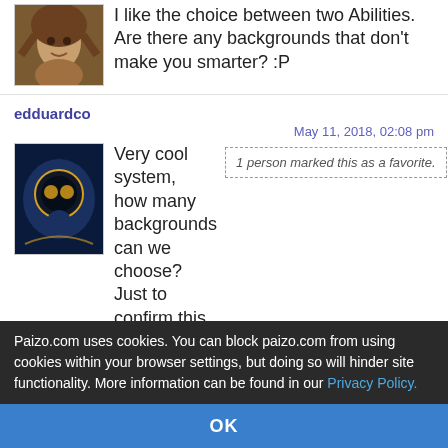I like the choice between two Abilities. Are there any backgrounds that don't make you smarter? :P
edduardco
May 11, 2018, 02:08 pm
1 person marked this as a favorite.
Very cool system, how many backgrounds can we choose? Just to confirm this is replacing Traits right?
AnimatedPaper
May 11, 2018, 02:08 pm
Pathfinder Adventure.
2 people marked this as a favorite.
Paizo.com uses cookies. You can block paizo.com from using cookies within your browser settings, but doing so will hinder site functionality. More information can be found in our Privacy Policy.
OK